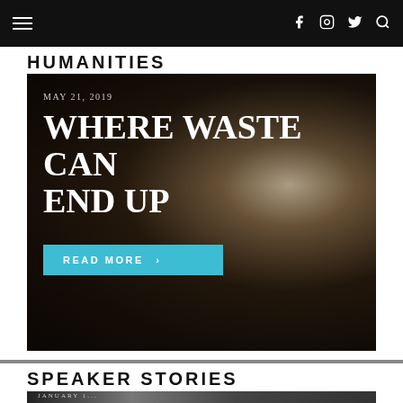Navigation bar with hamburger menu, Facebook, Instagram, Twitter, Search icons
HUMANITIES
[Figure (photo): Two workers in white hazmat suits and hard hats working in a dark sewer tunnel, using tools to break up waste material. The worker on the right faces the camera wearing a blue lanyard.]
WHERE WASTE CAN END UP
MAY 21, 2019
READ MORE ›
SPEAKER STORIES
[Figure (photo): Partial view of a dark image with text beginning JANUARY 1... partially visible at the bottom of the page]